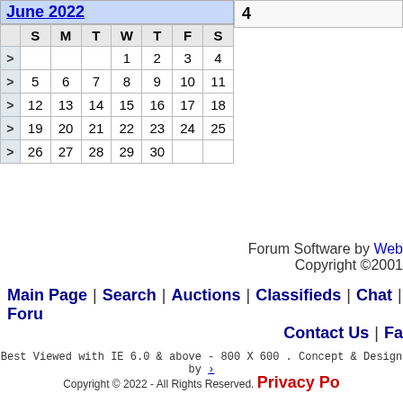June 2022
|  | S | M | T | W | T | F | S |
| --- | --- | --- | --- | --- | --- | --- | --- |
| > |  |  |  | 1 | 2 | 3 | 4 |
| > | 5 | 6 | 7 | 8 | 9 | 10 | 11 |
| > | 12 | 13 | 14 | 15 | 16 | 17 | 18 |
| > | 19 | 20 | 21 | 22 | 23 | 24 | 25 |
| > | 26 | 27 | 28 | 29 | 30 |  |  |
4
Forum Software by Web Copyright ©2001
Main Page | Search | Auctions | Classifieds | Chat | Foru Contact Us | Fa
Best Viewed with IE 6.0 & above - 800 X 600 . Concept & Design by
Copyright © 2022 - All Rights Reserved. Privacy Po